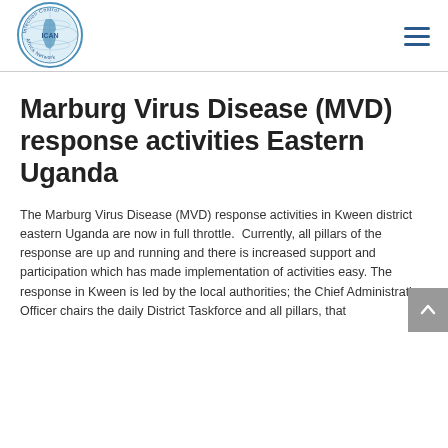[Figure (logo): Infection Control Africa Network (ICAN) circular logo with globe/Africa map graphic]
Marburg Virus Disease (MVD) response activities Eastern Uganda
The Marburg Virus Disease (MVD) response activities in Kween district eastern Uganda are now in full throttle.  Currently, all pillars of the response are up and running and there is increased support and participation which has made implementation of activities easy. The response in Kween is led by the local authorities; the Chief Administrative Officer chairs the daily District Taskforce and all pillars, that